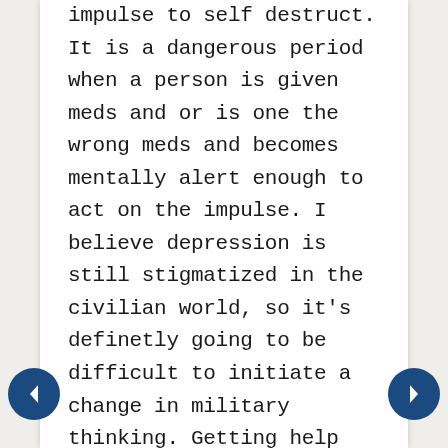impulse to self destruct. It is a dangerous period when a person is given meds and or is one the wrong meds and becomes mentally alert enough to act on the impulse. I believe depression is still stigmatized in the civilian world, so it's definetly going to be difficult to initiate a change in military thinking. Getting help to people and education of others, family and those in higher ranking positions earlier rather